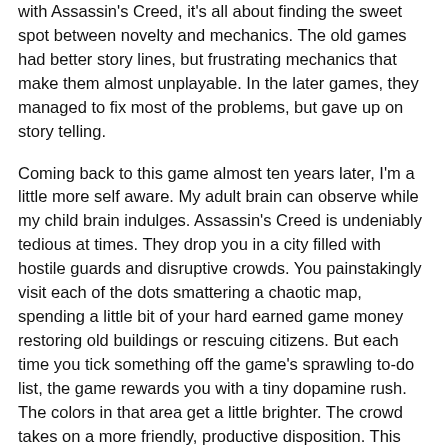with Assassin's Creed, it's all about finding the sweet spot between novelty and mechanics. The old games had better story lines, but frustrating mechanics that make them almost unplayable. In the later games, they managed to fix most of the problems, but gave up on story telling.
Coming back to this game almost ten years later, I'm a little more self aware. My adult brain can observe while my child brain indulges. Assassin's Creed is undeniably tedious at times. They drop you in a city filled with hostile guards and disruptive crowds. You painstakingly visit each of the dots smattering a chaotic map, spending a little bit of your hard earned game money restoring old buildings or rescuing citizens. But each time you tick something off the game's sprawling to-do list, the game rewards you with a tiny dopamine rush. The colors in that area get a little brighter. The crowd takes on a more friendly, productive disposition. This beautiful majestic music swells in the background. A slick animation appears in the corner of your screen that tells your dopamine soaked brain Good job! I just saved